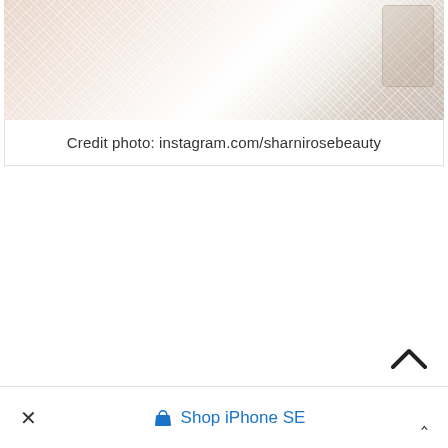[Figure (photo): Close-up photo of white sheer/tulle fabric material with lace or floral pattern visible on the right edge, displayed against a warm skin-toned background]
Credit photo: instagram.com/sharnirosebeauty
[Figure (screenshot): Back to top arrow button (upward chevron) in dark color on white background]
× Shop iPhone SE ^